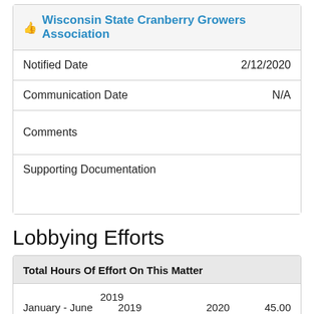Wisconsin State Cranberry Growers Association
| Field | Value |
| --- | --- |
| Notified Date | 2/12/2020 |
| Communication Date | N/A |
| Comments |  |
| Supporting Documentation |  |
Lobbying Efforts
| Total Hours Of Effort On This Matter |
| --- |
| 2019 |  |  |  |
| January - June | 2019 |  |  |
|  | July - December | 2020 | 45.00 |
|  |  | January - June |  |